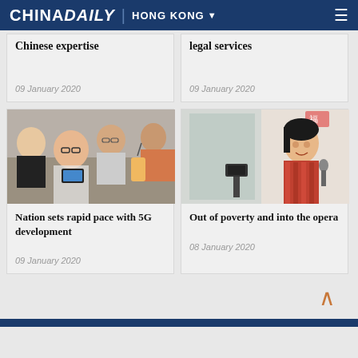CHINA DAILY | HONG KONG
Chinese expertise
09 January 2020
legal services
09 January 2020
[Figure (photo): Group of young people looking at smartphones and a tablet device]
Nation sets rapid pace with 5G development
09 January 2020
[Figure (photo): Woman holding a microphone, standing in a room, dressed in patterned clothing]
Out of poverty and into the opera
08 January 2020